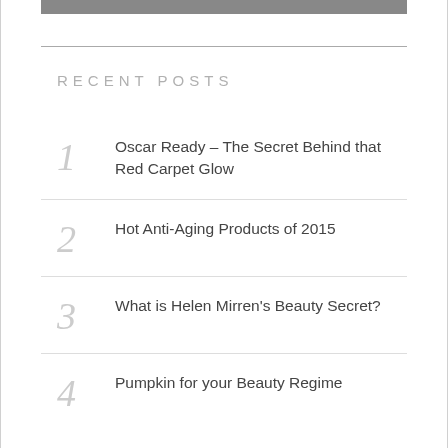RECENT POSTS
Oscar Ready – The Secret Behind that Red Carpet Glow
Hot Anti-Aging Products of 2015
What is Helen Mirren's Beauty Secret?
Pumpkin for your Beauty Regime